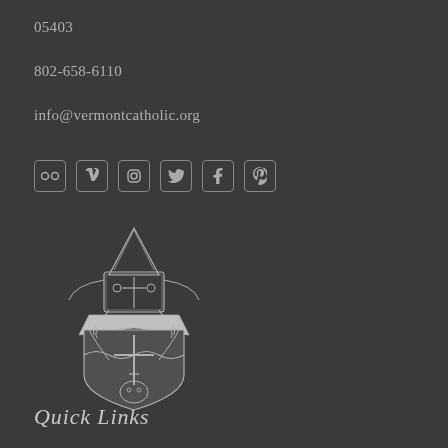05403
802-658-6110
info@vermontcatholic.org
[Figure (illustration): Six social media icons in rounded square borders: Flickr, Vimeo, Instagram, Twitter, Facebook, Pinterest]
[Figure (logo): Diocese of Burlington coat of arms: bishop's mitre at top, shield with deer and cross, decorative heraldic design in gray on dark background]
Quick Links